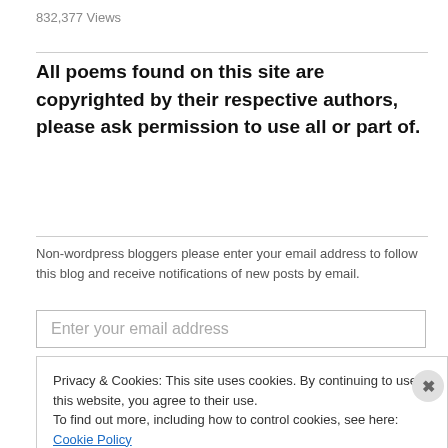832,377 Views
All poems found on this site are copyrighted by their respective authors, please ask permission to use all or part of.
Non-wordpress bloggers please enter your email address to follow this blog and receive notifications of new posts by email.
Enter your email address
Privacy & Cookies: This site uses cookies. By continuing to use this website, you agree to their use. To find out more, including how to control cookies, see here: Cookie Policy